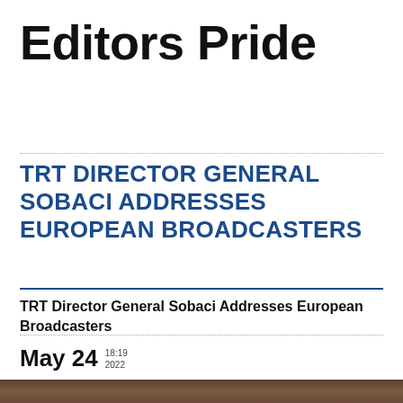Editors Pride
TRT DIRECTOR GENERAL SOBACI ADDRESSES EUROPEAN BROADCASTERS
TRT Director General Sobaci Addresses European Broadcasters
May 24  18:19 2022
[Figure (photo): Photo strip at the bottom of the page]